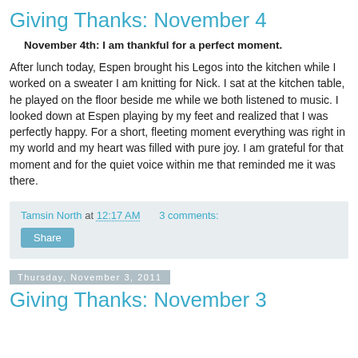Giving Thanks: November 4
November 4th: I am thankful for a perfect moment.
After lunch today, Espen brought his Legos into the kitchen while I worked on a sweater I am knitting for Nick. I sat at the kitchen table, he played on the floor beside me while we both listened to music. I looked down at Espen playing by my feet and realized that I was perfectly happy. For a short, fleeting moment everything was right in my world and my heart was filled with pure joy. I am grateful for that moment and for the quiet voice within me that reminded me it was there.
Tamsin North at 12:17 AM   3 comments:
Share
Thursday, November 3, 2011
Giving Thanks: November 3